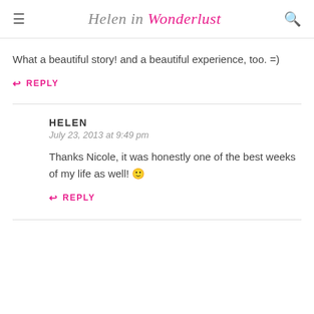Helen in Wonderlust
What a beautiful story! and a beautiful experience, too. =)
↩ REPLY
HELEN
July 23, 2013 at 9:49 pm
Thanks Nicole, it was honestly one of the best weeks of my life as well! 🙂
↩ REPLY